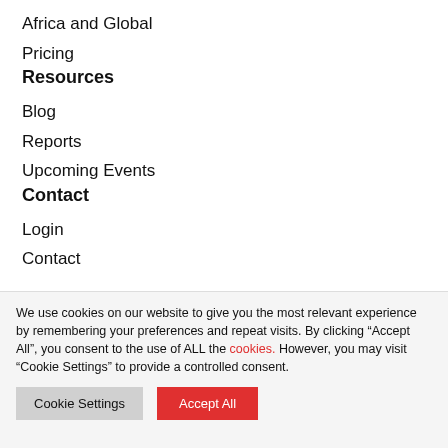Africa and Global
Pricing
Resources
Blog
Reports
Upcoming Events
Contact
Login
Contact
We use cookies on our website to give you the most relevant experience by remembering your preferences and repeat visits. By clicking “Accept All”, you consent to the use of ALL the cookies. However, you may visit “Cookie Settings” to provide a controlled consent.